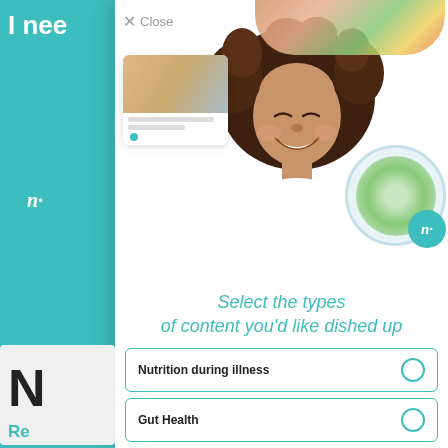I nee
[Figure (screenshot): Modal dialog overlay on a nutrition app. Shows a close button (X Close), a hero image with a smiling woman with curly hair, a thumbnail card of dairy products, a food plate circle with grilled chicken salad and a Nutricia logo, and a top banner of colorful food items. Below the image is text 'Select the types of content you'd like dished up' followed by three selectable options: 'Nutrition during illness', 'Gut Health', and 'Nutrition for the Elderly', each with a circular radio button.]
× Close
Select the types of content you'd like dished up
Nutrition during illness
Gut Health
Nutrition for the Elderly
N
Re